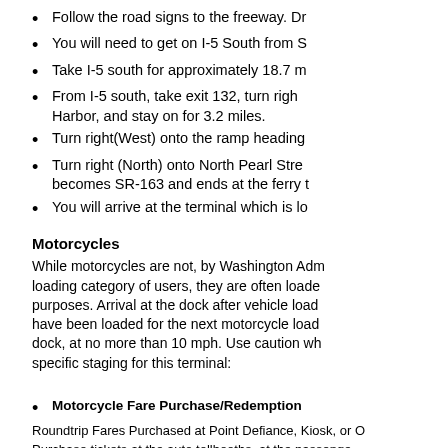Follow the road signs to the freeway. Dr…
You will need to get on I-5 South from S…
Take I-5 south for approximately 18.7 m…
From I-5 south, take exit 132, turn righ… Harbor, and stay on for 3.2 miles.
Turn right(West) onto the ramp heading…
Turn right (North) onto North Pearl Stre… becomes SR-163 and ends at the ferry t…
You will arrive at the terminal which is lo…
Motorcycles
While motorcycles are not, by Washington Adm… loading category of users, they are often loade… purposes. Arrival at the dock after vehicle load… have been loaded for the next motorcycle load… dock, at no more than 10 mph. Use caution wh… specific staging for this terminal:
Motorcycle Fare Purchase/Redemption
Roundtrip Fares Purchased at Point Defiance, Kiosk, or O…
Purchase tickets at the auto tollbooths, at the passenge… advance.
Pre-ticketed customers can be scanned by ticket taker.